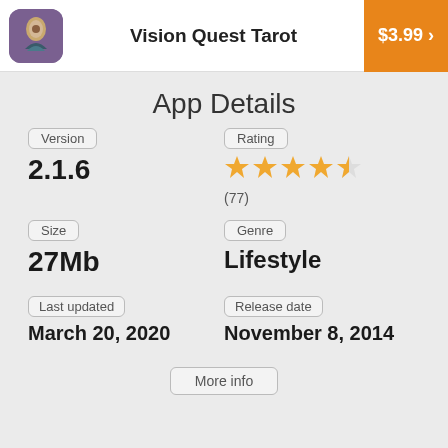Vision Quest Tarot   $3.99 >
App Details
Version
2.1.6
Rating
★★★★½
(77)
Size
27Mb
Genre
Lifestyle
Last updated
March 20, 2020
Release date
November 8, 2014
More info